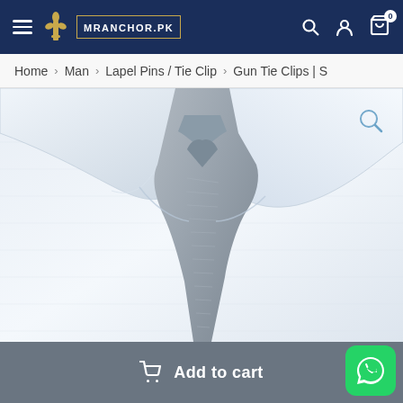MRANCHOR.PK — Navigation bar with hamburger menu, logo, search, account, and cart icons
Home › Man › Lapel Pins / Tie Clip › Gun Tie Clips | S
[Figure (photo): Close-up photo of a man wearing a white dress shirt with a grey textured tie, showing the collar and knot area. A magnify/zoom icon is visible in the top right of the image.]
Add to cart